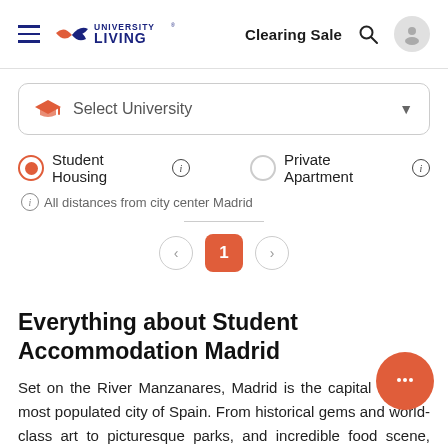University Living — Clearing Sale
Select University
Student Housing  Private Apartment
All distances from city center Madrid
1
Everything about Student Accommodation Madrid
Set on the River Manzanares, Madrid is the capital and the most populated city of Spain. From historical gems and world-class art to picturesque parks, and incredible food scene, Madrid has
Read more